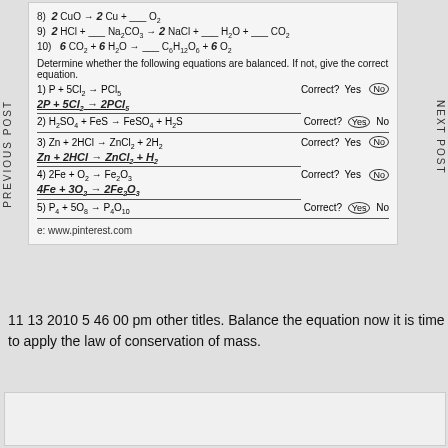8) 2 CuO → 2 Cu + __ O2
9) 2 HCl + __ Na2CO3 → 2 NaCl + __ H2O + __ CO2
10) 6 CO2 + 6 H2O → __ C6H12O6 + 6 O2
Determine whether the following equations are balanced. If not, give the correct equation.
1) P + 5Cl2 → PCl5   Correct? Yes (No)   Answer: 2P + 5Cl2 → 2PCl5
2) H2SO4 + FeS → FeSO4 + H2S   Correct? (Yes) No
3) Zn + 2HCl → ZnCl2 + 2H2   Correct? Yes (No)   Answer: Zn + 2HCl → ZnCl2 + H2
4) 2Fe + O2 → Fe2O3   Correct? Yes (No)   Answer: 4Fe + 3O2 → 2Fe2O3
5) P4 + 5O8 → P4O10   Correct? (Yes) No
e: www.pinterest.com
11 13 2010 5 46 00 pm other titles. Balance the equation now it is time to apply the law of conservation of mass.